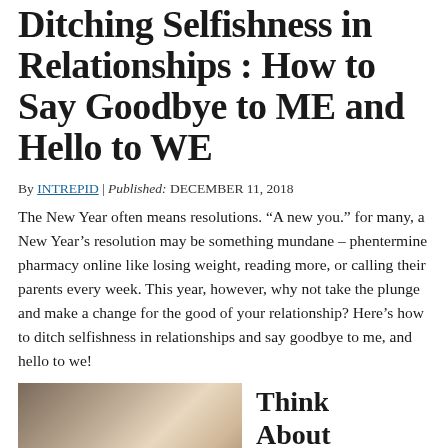Ditching Selfishness in Relationships : How to Say Goodbye to ME and Hello to WE
By INTREPID | Published: DECEMBER 11, 2018
The New Year often means resolutions. “A new you.” for many, a New Year’s resolution may be something mundane – phentermine pharmacy online like losing weight, reading more, or calling their parents every week. This year, however, why not take the plunge and make a change for the good of your relationship? Here’s how to ditch selfishness in relationships and say goodbye to me, and hello to we!
[Figure (photo): Photo of a couple, close-up, warm tones, two people together]
Think About How